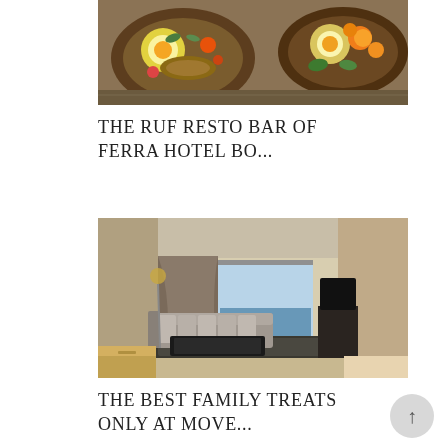[Figure (photo): Overhead photo of food dishes with eggs and colorful garnishes in dark bowls]
THE RUF RESTO BAR OF FERRA HOTEL BO...
[Figure (photo): Interior photo of a hotel room/suite with a sectional sofa, floor lamp, coffee table, TV, and balcony with ocean view]
THE BEST FAMILY TREATS ONLY AT MOVE...